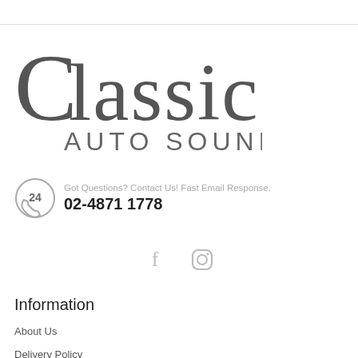[Figure (logo): Classic Auto Sound logo — stylized retro lettering with 'Classic' in large decorative caps and 'AUTO SOUND' below in smaller block letters, all in dark gray]
Got Questions? Contact Us! Fast Email Response.
02-4871 1778
[Figure (illustration): Facebook and Instagram social media icons in light gray]
Information
About Us
Delivery Policy